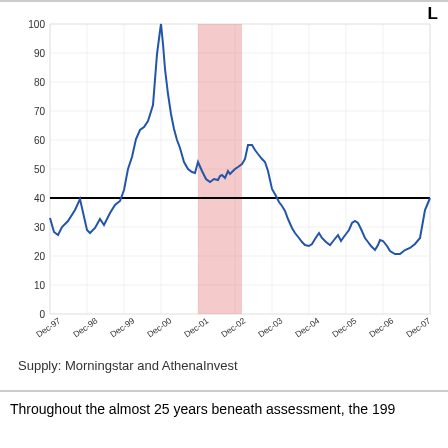L
[Figure (continuous-plot): Line chart showing a financial metric from Dec-97 to Dec-07+. Y-axis ranges from 0 to 100. A blue line starts around 33 in Dec-97, dips to ~27, rises to ~63 by Dec-98, fluctuates around 55-60, then surges to a peak of ~100 around Dec-00. A pink shaded region covers approximately Nov-00 to Mar-02 (recession). During this period the line falls sharply from ~65 to ~45-47. After the shaded region, the line continues declining to ~25 by Dec-04, with a brief recovery to ~57 around mid-2002. From Dec-05 onwards, the line is mostly flat around 22-25, with a spike to ~41 around Dec-05 and ending near 41 at the right edge (Dec-07+). A horizontal black reference line is drawn at y=40 across the full chart.]
Supply: Morningstar and AthenaInvest
Throughout the almost 25 years beneath assessment, the 199